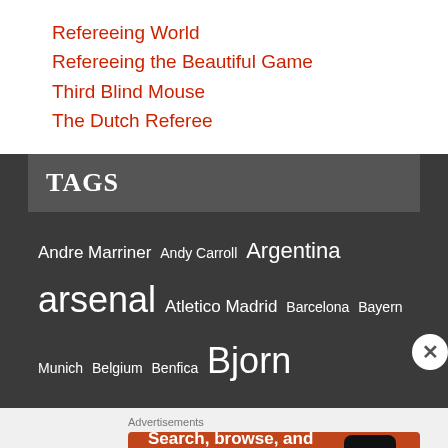Refereeing World
Refereeing the Beautiful Game
Third Blind Mouse
The Dutch Referee
TAGS
Andre Marriner Andy Carroll Argentina arsenal Atletico Madrid Barcelona Bayern Munich Belgium Benfica Bjorn
Advertisements
[Figure (infographic): DuckDuckGo advertisement banner: Search, browse, and email with more privacy. All in One Free App. Shows a phone with DuckDuckGo logo.]